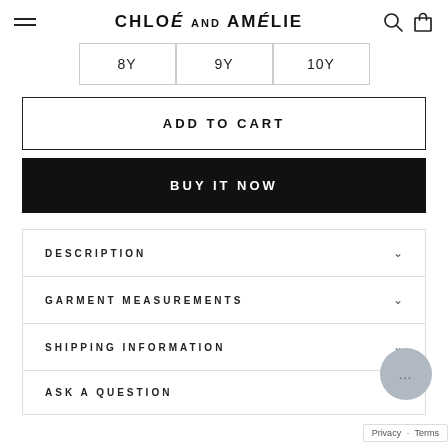Chloé and Amélie
8Y
9Y
10Y
ADD TO CART
BUY IT NOW
DESCRIPTION
GARMENT MEASUREMENTS
SHIPPING INFORMATION
ASK A QUESTION